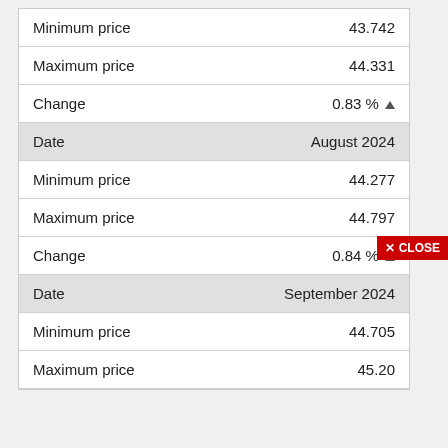|  |  |
| --- | --- |
| Minimum price | 43.742 |
| Maximum price | 44.331 |
| Change | 0.83 % ▲ |
| Date | August 2024 |
| Minimum price | 44.277 |
| Maximum price | 44.797 |
| Change | 0.84 % ▲ |
| Date | September 2024 |
| Minimum price | 44.705 |
| Maximum price | 45.20… |